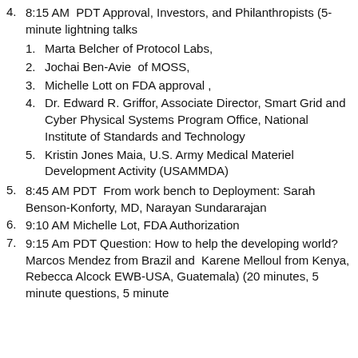4. 8:15 AM  PDT Approval, Investors, and Philanthropists (5-minute lightning talks
1. Marta Belcher of Protocol Labs,
2. Jochai Ben-Avie  of MOSS,
3. Michelle Lott on FDA approval ,
4. Dr. Edward R. Griffor, Associate Director, Smart Grid and Cyber Physical Systems Program Office, National Institute of Standards and Technology
5. Kristin Jones Maia, U.S. Army Medical Materiel Development Activity (USAMMDA)
5. 8:45 AM PDT  From work bench to Deployment: Sarah Benson-Konforty, MD, Narayan Sundararajan
6. 9:10 AM Michelle Lot, FDA Authorization
7. 9:15 Am PDT Question: How to help the developing world? Marcos Mendez from Brazil and  Karene Melloul from Kenya, Rebecca Alcock EWB-USA, Guatemala) (20 minutes, 5 minute questions, 5 minute